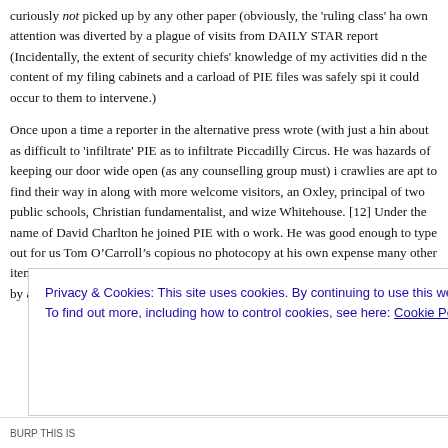curiously not picked up by any other paper (obviously, the 'ruling class' ha own attention was diverted by a plague of visits from DAILY STAR reporters (Incidentally, the extent of security chiefs' knowledge of my activities did n the content of my filing cabinets and a carload of PIE files was safely spi it could occur to them to intervene.)
Once upon a time a reporter in the alternative press wrote (with just a hin about as difficult to 'infiltrate' PIE as to infiltrate Piccadilly Circus. He was hazards of keeping our door wide open (as any counselling group must) i crawlies are apt to find their way in along with more welcome visitors, an Oxley, principal of two public schools, Christian fundamentalist, and wize Whitehouse. [12] Under the name of David Charlton he joined PIE with o work. He was good enough to type out for us Tom O'Carroll's copious no photocopy at his own expense many other items for the PIE Press Servic expressed a willingness to work, he was first met by an EC member to as
Privacy & Cookies: This site uses cookies. By continuing to use this website, you agree to their use.
To find out more, including how to control cookies, see here: Cookie Policy
Close and accept